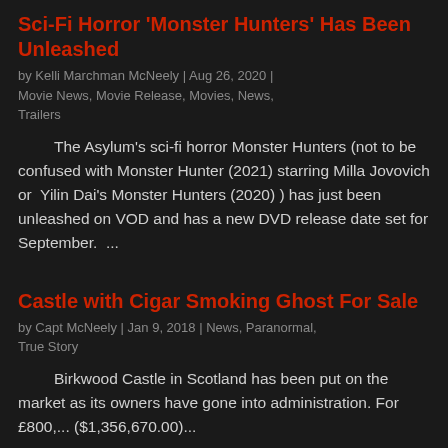Sci-Fi Horror 'Monster Hunters' Has Been Unleashed
by Kelli Marchman McNeely | Aug 26, 2020 | Movie News, Movie Release, Movies, News, Trailers
The Asylum's sci-fi horror Monster Hunters (not to be confused with Monster Hunter (2021) starring Milla Jovovich or  Yilin Dai's Monster Hunters (2020) ) has just been unleashed on VOD and has a new DVD release date set for September.  ...
Castle with Cigar Smoking Ghost For Sale
by Capt McNeely | Jan 9, 2018 | News, Paranormal, True Story
Birkwood Castle in Scotland has been put on the market as its owners have gone into administration. For £800,... ($1,356,670.00)...